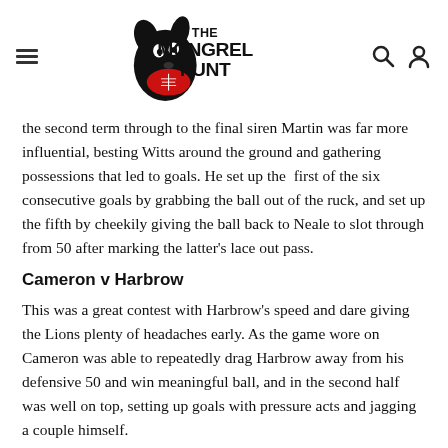The Mongrel Punt
the second term through to the final siren Martin was far more influential, besting Witts around the ground and gathering possessions that led to goals. He set up the  first of the six consecutive goals by grabbing the ball out of the ruck, and set up the fifth by cheekily giving the ball back to Neale to slot through from 50 after marking the latter's lace out pass.
Cameron v Harbrow
This was a great contest with Harbrow's speed and dare giving the Lions plenty of headaches early. As the game wore on Cameron was able to repeatedly drag Harbrow away from his defensive 50 and win meaningful ball, and in the second half was well on top, setting up goals with pressure acts and jagging a couple himself.